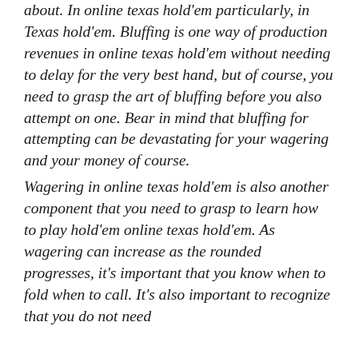about. In online texas hold'em particularly, in Texas hold'em. Bluffing is one way of production revenues in online texas hold'em without needing to delay for the very best hand, but of course, you need to grasp the art of bluffing before you also attempt on one. Bear in mind that bluffing for attempting can be devastating for your wagering and your money of course.
Wagering in online texas hold'em is also another component that you need to grasp to learn how to play hold'em online texas hold'em. As wagering can increase as the rounded progresses, it's important that you know when to fold when to call. It's also important to recognize that you do not need